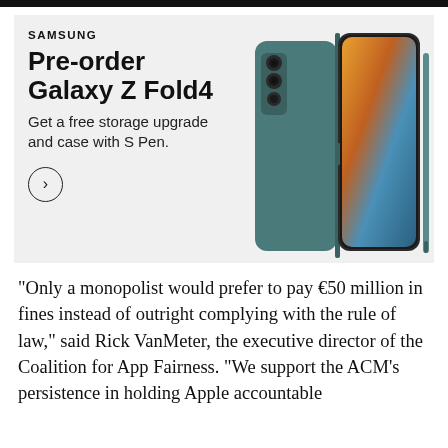[Figure (advertisement): Samsung advertisement for Galaxy Z Fold4 pre-order. Light gray background with Samsung logo, headline 'Pre-order Galaxy Z Fold4', subtext 'Get a free storage upgrade and case with S Pen.' with a circular arrow button, and a product photo of the Galaxy Z Fold4 in blue-gray color with S Pen.]
“Only a monopolist would prefer to pay €50 million in fines instead of outright complying with the rule of law,” said Rick VanMeter, the executive director of the Coalition for App Fairness. “We support the ACM’s persistence in holding Apple accountable